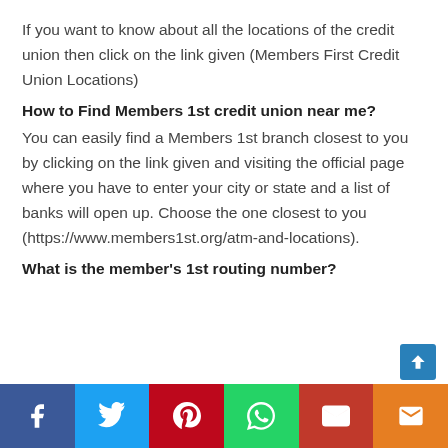If you want to know about all the locations of the credit union then click on the link given (Members First Credit Union Locations)
How to Find Members 1st credit union near me?
You can easily find a Members 1st branch closest to you by clicking on the link given and visiting the official page where you have to enter your city or state and a list of banks will open up. Choose the one closest to you (https://www.members1st.org/atm-and-locations).
What is the member's 1st routing number?
[Figure (other): Social media share bar with icons for Facebook, Twitter, Pinterest, WhatsApp, Gmail, and Email]